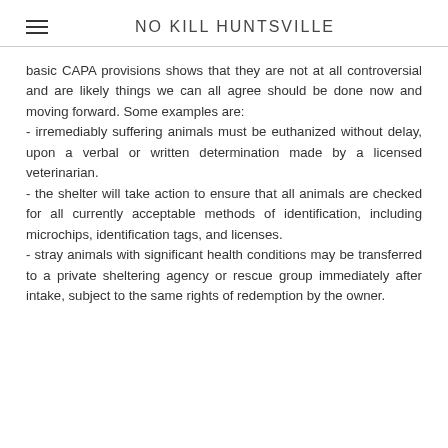NO KILL HUNTSVILLE
basic CAPA provisions shows that they are not at all controversial and are likely things we can all agree should be done now and moving forward. Some examples are:
- irremediably suffering animals must be euthanized without delay, upon a verbal or written determination made by a licensed veterinarian.
- the shelter will take action to ensure that all animals are checked for all currently acceptable methods of identification, including microchips, identification tags, and licenses.
- stray animals with significant health conditions may be transferred to a private sheltering agency or rescue group immediately after intake, subject to the same rights of redemption by the owner.